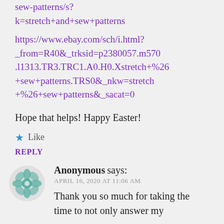sew-patterns/s?
k=stretch+and+sew+patterns
https://www.ebay.com/sch/i.html?_from=R40&_trksid=p2380057.m570.l1313.TR3.TRC1.A0.H0.Xstretch+%26+sew+patterns.TRS0&_nkw=stretch+%26+sew+patterns&_sacat=0
Hope that helps! Happy Easter!
Like
REPLY
Anonymous says:
APRIL 16, 2020 AT 11:06 AM
Thank you so much for taking the time to not only answer my